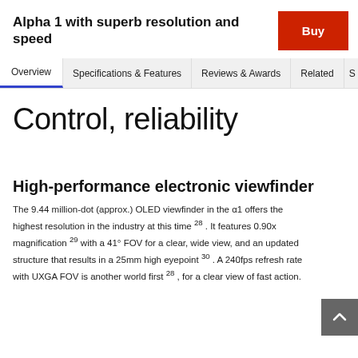Alpha 1 with superb resolution and speed
Buy
Overview | Specifications & Features | Reviews & Awards | Related | S
Control, reliability
High-performance electronic viewfinder
The 9.44 million-dot (approx.) OLED viewfinder in the α1 offers the highest resolution in the industry at this time 28 . It features 0.90x magnification 29 with a 41° FOV for a clear, wide view, and an updated structure that results in a 25mm high eyepoint 30 . A 240fps refresh rate with UXGA FOV is another world first 28 , for a clear view of fast action.